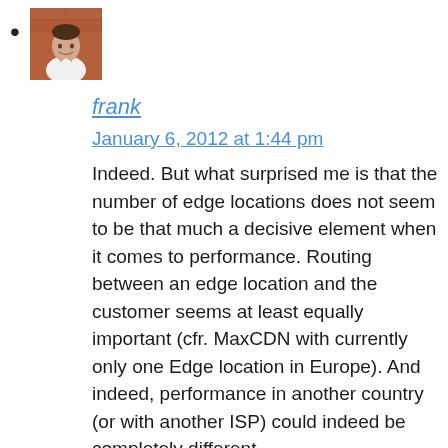[Figure (photo): Avatar photo of a person in a white t-shirt against a brick background]
frank
January 6, 2012 at 1:44 pm
Indeed. But what surprised me is that the number of edge locations does not seem to be that much a decisive element when it comes to performance. Routing between an edge location and the customer seems at least equally important (cfr. MaxCDN with currently only one Edge location in Europe). And indeed, performance in another country (or with another ISP) could indeed be completely different.
Oh, and congrats with bankonfire.com! 🙂
Reply